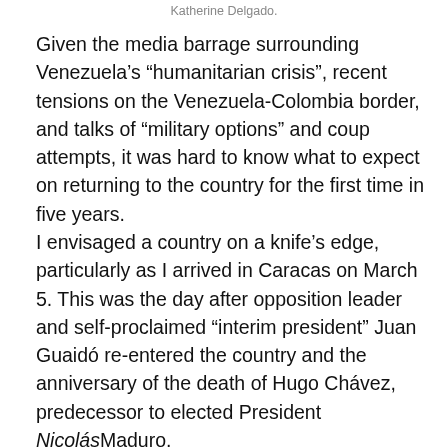Katherine Delgado.
Given the media barrage surrounding Venezuela’s “humanitarian crisis”, recent tensions on the Venezuela-Colombia border, and talks of “military options” and coup attempts, it was hard to know what to expect on returning to the country for the first time in five years.
I envisaged a country on a knife’s edge, particularly as I arrived in Caracas on March 5. This was the day after opposition leader and self-proclaimed “interim president” Juan Guaidó re-entered the country and the anniversary of the death of Hugo Chávez, predecessor to elected President NicolásMaduro.